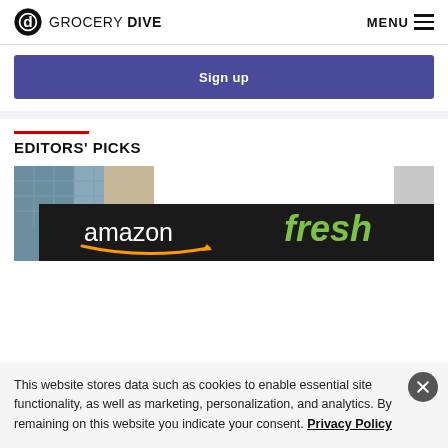GROCERY DIVE | MENU
Sign up
EDITORS' PICKS
[Figure (photo): Amazon Fresh store sign — dark facade with white 'amazon' text and green 'fresh' text, with Amazon arrow logo below]
This website stores data such as cookies to enable essential site functionality, as well as marketing, personalization, and analytics. By remaining on this website you indicate your consent. Privacy Policy